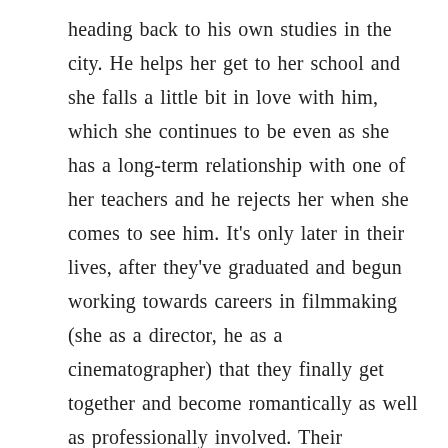heading back to his own studies in the city. He helps her get to her school and she falls a little bit in love with him, which she continues to be even as she has a long-term relationship with one of her teachers and he rejects her when she comes to see him. It's only later in their lives, after they've graduated and begun working towards careers in filmmaking (she as a director, he as a cinematographer) that they finally get together and become romantically as well as professionally involved. Their relationship is tempestuous, and Masha becomes pregnant with their child shortly before she leaves him for good, taking up with an older German actor while